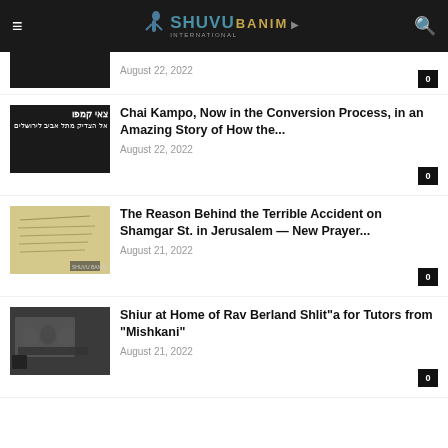SHUVU BANIM INTERNATIONAL
August 22, 2022
Chai Kampo, Now in the Conversion Process, in an Amazing Story of How the...
August 22, 2022
The Reason Behind the Terrible Accident on Shamgar St. in Jerusalem — New Prayer...
August 21, 2022
Shiur at Home of Rav Berland Shlit"a for Tutors from "Mishkani"
August 21, 2022